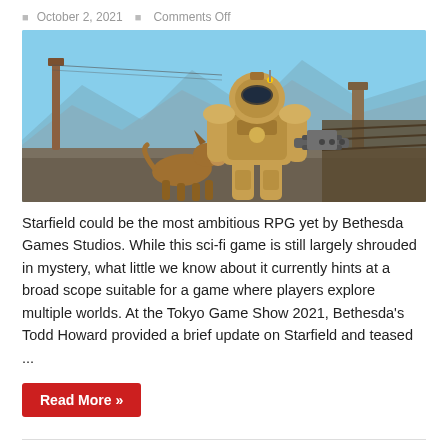October 2, 2021   Comments Off
[Figure (photo): Screenshot from a Fallout-style video game showing a heavily armored power-suit character holding a minigun, accompanied by a German Shepherd dog, standing on a rooftop with a post-apocalyptic landscape in the background.]
Starfield could be the most ambitious RPG yet by Bethesda Games Studios. While this sci-fi game is still largely shrouded in mystery, what little we know about it currently hints at a broad scope suitable for a game where players explore multiple worlds. At the Tokyo Game Show 2021, Bethesda's Todd Howard provided a brief update on Starfield and teased ...
Read More »
Tennessee vs Missouri adds